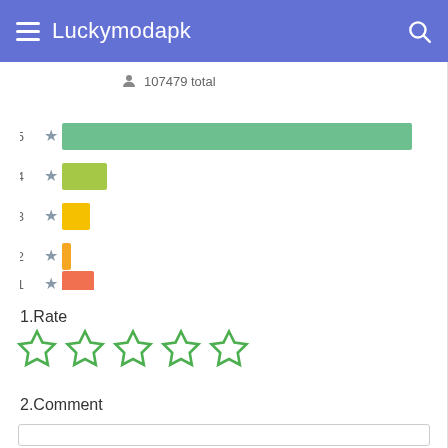Luckymodapk
107479 total
[Figure (bar-chart): Star rating distribution]
1.Rate
[Figure (other): Five empty star rating icons in green outline]
2.Comment